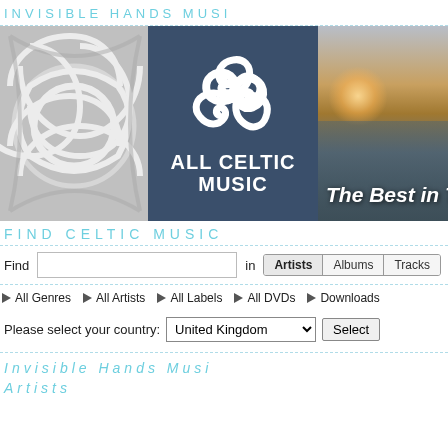INVISIBLE HANDS MUSI
[Figure (logo): All Celtic Music banner with Celtic knot pattern on left, triskelion logo on dark blue background in center with text ALL CELTIC MUSIC, and coastal sunset photo on right with text The Best in Tradition]
FIND CELTIC MUSIC
Find [search box] in Artists | Albums | Tracks
All Genres
All Artists
All Labels
All DVDs
Downloads
Please select your country: United Kingdom [Select]
Invisible Hands Musi
Artists